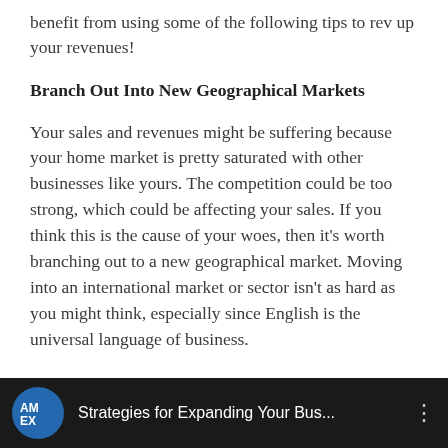benefit from using some of the following tips to rev up your revenues!
Branch Out Into New Geographical Markets
Your sales and revenues might be suffering because your home market is pretty saturated with other businesses like yours. The competition could be too strong, which could be affecting your sales. If you think this is the cause of your woes, then it’s worth branching out to a new geographical market. Moving into an international market or sector isn’t as hard as you might think, especially since English is the universal language of business.
[Figure (screenshot): American Express branded ad bar with blue circular AMEX logo, text 'Strategies for Expanding Your Bus...' on dark background with three-dot menu icon]